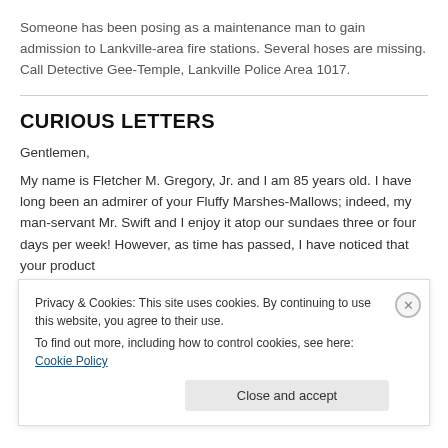Someone has been posing as a maintenance man to gain admission to Lankville-area fire stations. Several hoses are missing. Call Detective Gee-Temple, Lankville Police Area 1017.
CURIOUS LETTERS
Gentlemen,
My name is Fletcher M. Gregory, Jr. and I am 85 years old. I have long been an admirer of your Fluffy Marshes-Mallows; indeed, my man-servant Mr. Swift and I enjoy it atop our sundaes three or four days per week! However, as time has passed, I have noticed that your product
Privacy & Cookies: This site uses cookies. By continuing to use this website, you agree to their use.
To find out more, including how to control cookies, see here: Cookie Policy
Close and accept